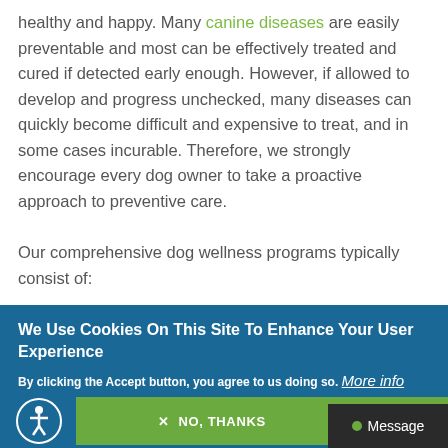healthy and happy. Many canine diseases are easily preventable and most can be effectively treated and cured if detected early enough. However, if allowed to develop and progress unchecked, many diseases can quickly become difficult and expensive to treat, and in some cases incurable. Therefore, we strongly encourage every dog owner to take a proactive approach to preventive care.
Our comprehensive dog wellness programs typically consist of:
We Use Cookies On This Site To Enhance Your User Experience
By clicking the Accept button, you agree to us doing so. More info